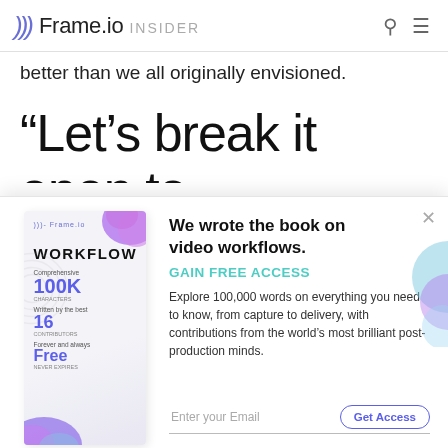Frame.io INSIDER
better than we all originally envisioned.
“Let’s break it open to
[Figure (illustration): Modal popup with book cover for 'WORKFLOW' by Frame.io on the left showing stats: Comprehensive, 100K, Written by the best, 16, Forever and always, Free. Right side has text 'We wrote the book on video workflows. GAIN FREE ACCESS. Explore 100,000 words on everything you need to know, from capture to delivery, with contributions from the world’s most brilliant post-production minds.' with an email input and 'Get Access' button. A close (x) button is in the top right corner.]